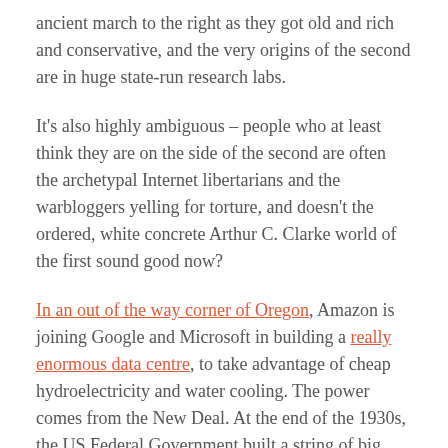ancient march to the right as they got old and rich and conservative, and the very origins of the second are in huge state-run research labs.
It's also highly ambiguous – people who at least think they are on the side of the second are often the archetypal Internet libertarians and the warbloggers yelling for torture, and doesn't the ordered, white concrete Arthur C. Clarke world of the first sound good now?
In an out of the way corner of Oregon, Amazon is joining Google and Microsoft in building a really enormous data centre, to take advantage of cheap hydroelectricity and water cooling. The power comes from the New Deal. At the end of the 1930s, the US Federal Government built a string of big dams there; their first customer for the power was the aluminium industry as it geared up first to supply the RAF and then to create the USAAF. As a result